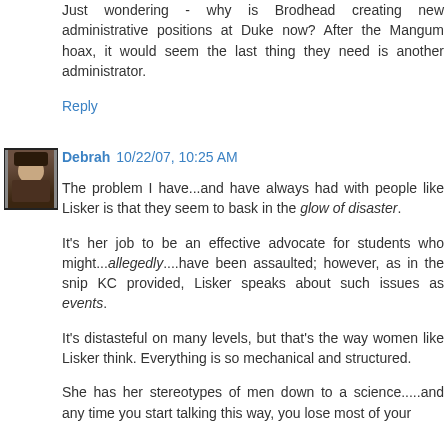Just wondering - why is Brodhead creating new administrative positions at Duke now? After the Mangum hoax, it would seem the last thing they need is another administrator.
Reply
Debrah  10/22/07, 10:25 AM
The problem I have...and have always had with people like Lisker is that they seem to bask in the glow of disaster.
It's her job to be an effective advocate for students who might...allegedly....have been assaulted; however, as in the snip KC provided, Lisker speaks about such issues as events.
It's distasteful on many levels, but that's the way women like Lisker think. Everything is so mechanical and structured.
She has her stereotypes of men down to a science.....and any time you start talking this way, you lose most of your